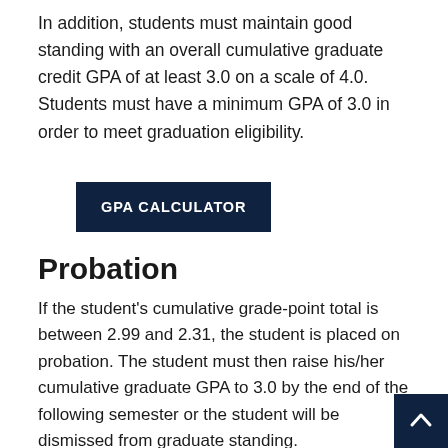In addition, students must maintain good standing with an overall cumulative graduate credit GPA of at least 3.0 on a scale of 4.0. Students must have a minimum GPA of 3.0 in order to meet graduation eligibility.
[Figure (other): Dark navy blue button labeled GPA CALCULATOR in white bold uppercase text]
Probation
If the student's cumulative grade-point total is between 2.99 and 2.31, the student is placed on probation. The student must then raise his/her cumulative graduate GPA to 3.0 by the end of the following semester or the student will be dismissed from graduate standing.